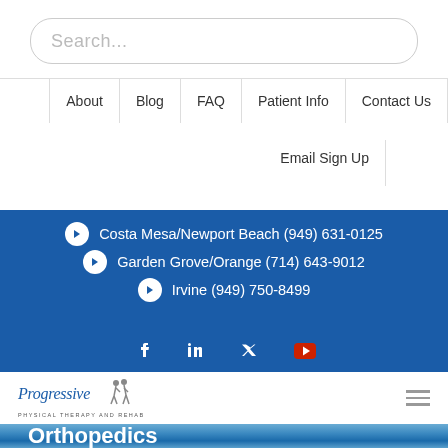Search...
About
Blog
FAQ
Patient Info
Contact Us
Email Sign Up
Costa Mesa/Newport Beach (949) 631-0125
Garden Grove/Orange (714) 643-9012
Irvine (949) 750-8499
[Figure (logo): Social media icons: Facebook, LinkedIn, Twitter, YouTube]
[Figure (logo): Progressive Physical Therapy and Rehab logo with two figure icons]
Orthopedics